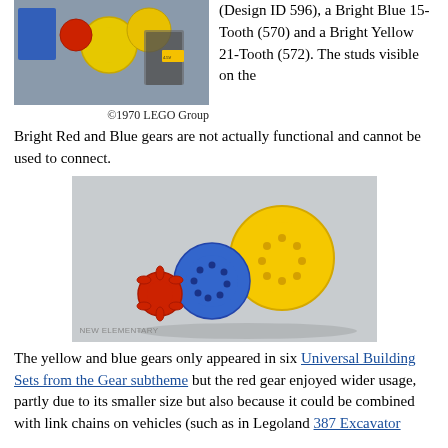[Figure (photo): Photo of colourful LEGO gears (red, blue, yellow) and a LEGO set box from 1970]
©1970 LEGO Group
(Design ID 596), a Bright Blue 15-Tooth (570) and a Bright Yellow 21-Tooth (572). The studs visible on the Bright Red and Blue gears are not actually functional and cannot be used to connect.
[Figure (photo): Photo of three LEGO gears on a light grey background: a small red gear, a medium blue gear, and a large yellow gear. Watermark reads NEW ELEMENTARY.]
The yellow and blue gears only appeared in six Universal Building Sets from the Gear subtheme but the red gear enjoyed wider usage, partly due to its smaller size but also because it could be combined with link chains on vehicles (such as in Legoland 387 Excavator